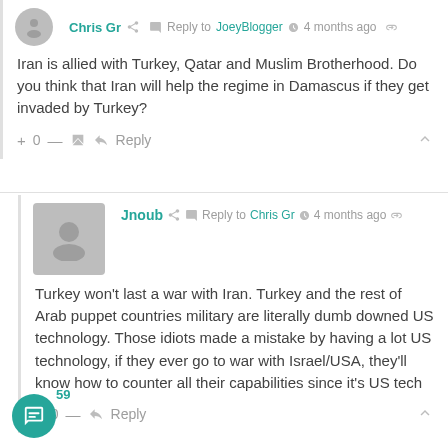Chris Gr · Reply to JoeyBlogger · 4 months ago
Iran is allied with Turkey, Qatar and Muslim Brotherhood. Do you think that Iran will help the regime in Damascus if they get invaded by Turkey?
+ 0 — Reply
Jnoub · Reply to Chris Gr · 4 months ago
Turkey won't last a war with Iran. Turkey and the rest of Arab puppet countries military are literally dumb downed US technology. Those idiots made a mistake by having a lot US technology, if they ever go to war with Israel/USA, they'll know how to counter all their capabilities since it's US tech
+ 0 — Reply